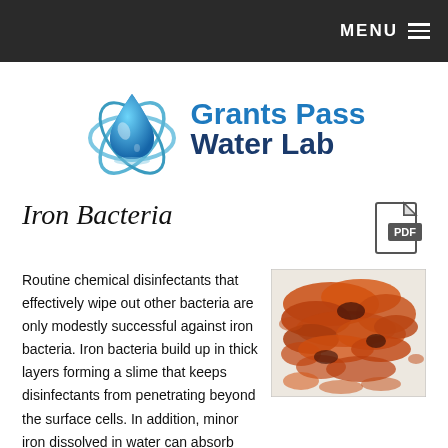MENU
[Figure (logo): Grants Pass Water Lab logo with water drop and orbital rings icon]
Iron Bacteria
[Figure (photo): Close-up photo of iron bacteria — orange-red clumpy deposits on a white surface]
Routine chemical disinfectants that effectively wipe out other bacteria are only modestly successful against iron bacteria. Iron bacteria build up in thick layers forming a slime that keeps disinfectants from penetrating beyond the surface cells. In addition, minor iron dissolved in water can absorb much of the disinfectants before they reach the bacterial